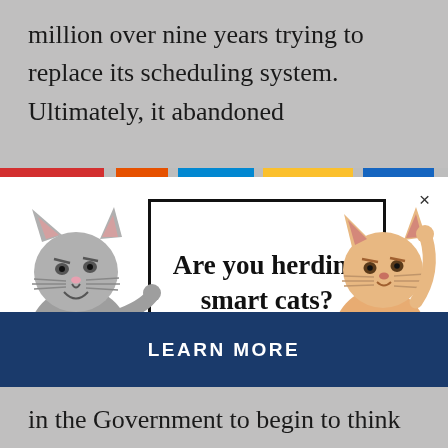million over nine years trying to replace its scheduling system. Ultimately, it abandoned
[Figure (illustration): A web advertisement popup showing two cartoon cats holding a sign that reads 'Are you herding smart cats?' with a blue 'LEARN MORE' button at the bottom. The left cat is gray wearing a blue shirt, the right cat is orange/tan wearing a green shirt.]
in the Government to begin to think about reducing project waste.